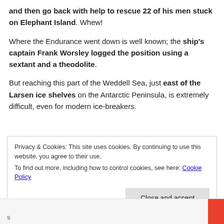and then go back with help to rescue 22 of his men stuck on Elephant Island. Whew!
Where the Endurance went down is well known; the ship's captain Frank Worsley logged the position using a sextant and a theodolite.
But reaching this part of the Weddell Sea, just east of the Larsen ice shelves on the Antarctic Peninsula, is extremely difficult, even for modern ice-breakers.
Privacy & Cookies: This site uses cookies. By continuing to use this website, you agree to their use.
To find out more, including how to control cookies, see here: Cookie Policy
Close and accept
s